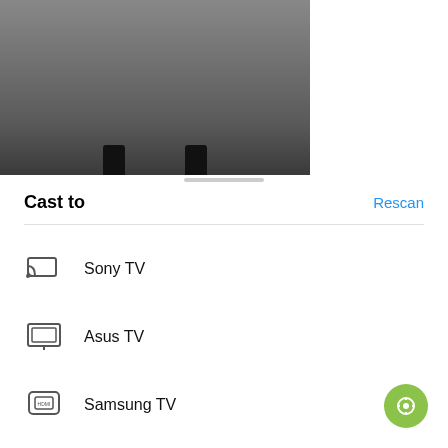[Figure (screenshot): Screenshot showing a dark gray background with phone stand silhouettes at the bottom]
Cast to
Rescan
Sony TV
Asus TV
Samsung TV
LG TV